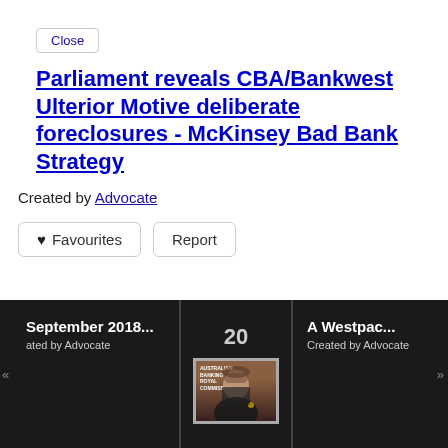Close
Parliament reveals CBA/Bankwest Ulterior Motive deliberate foreclosures - McKinsey Bad Bank Strategy
Created by Advocate
♥ Favourites   Report
September 2018... Created by Advocate
20
[Figure (photo): Video thumbnail showing a woman with glasses in front of a patterned background, with overlaid text about Australian Banking Royal Commission]
A Westpac... Created by Advocate